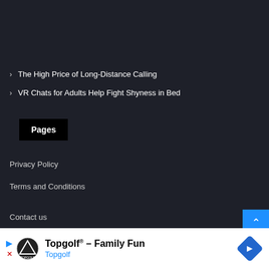The High Price of Long-Distance Calling
VR Chats for Adults Help Fight Shyness in Bed
Pages
Privacy Policy
Terms and Conditions
Contact us
[Figure (screenshot): Advertisement banner: Topgolf® - Family Fun, Topgolf logo and brand name with a blue diamond navigation icon]
Topgolf® - Family Fun Topgolf